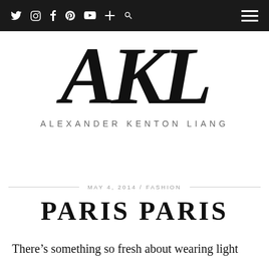Navigation bar with social icons (Twitter, Instagram, Facebook, Pinterest, YouTube, Plus, Search) and hamburger menu
[Figure (logo): AKL monogram logo in large bold italic serif letters, with 'ALEXANDER KENTON LIANG' spelled out beneath in spaced sans-serif capitals]
MAY 4, 2014 / FASHION
PARIS PARIS
There’s something so fresh about wearing light